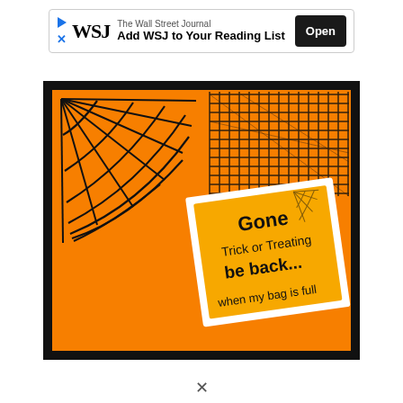[Figure (screenshot): WSJ advertisement banner with play icon, X close button, WSJ logo, text 'The Wall Street Journal / Add WSJ to Your Reading List', and black Open button]
[Figure (photo): Halloween craft card on orange background with black border. Features a spiderweb in upper left corner, black mesh fabric overlay in upper right, and a small tilted card reading 'Gone Trick or Treating be back... when my bag is full']